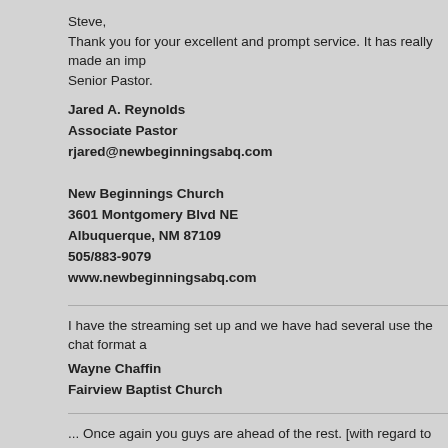Steve,
Thank you for your excellent and prompt service. It has really made an imp...
Senior Pastor.
Jared A. Reynolds
Associate Pastor
rjared@newbeginningsabq.com

New Beginnings Church
3601 Montgomery Blvd NE
Albuquerque, NM 87109
505/883-9079
www.newbeginningsabq.com
I have the streaming set up and we have had several use the chat format a...
Wayne Chaffin
Fairview Baptist Church
... Once again you guys are ahead of the rest. [with regard to our Roku stre...
Barrington Anderson
Media Ministry Director
Victory Seventh-day Adventist Church